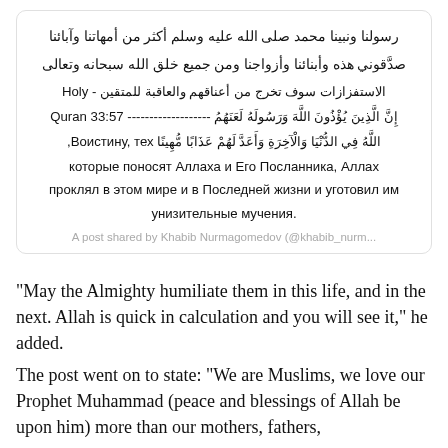[Figure (screenshot): Social media post screenshot showing Arabic text, a Quran verse reference (33:57), and Russian translation of the verse. Caption at bottom reads 'A post shared by Khabib Nurmagomedov (@khabib_nurm...']
"May the Almighty humiliate them in this life, and in the next. Allah is quick in calculation and you will see it," he added.
The post went on to state: “We are Muslims, we love our Prophet Muhammad (peace and blessings of Allah be upon him) more than our mothers, fathers,